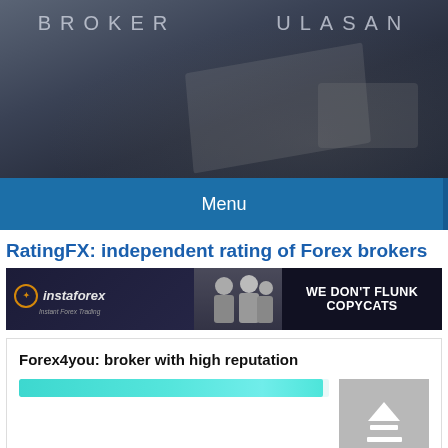[Figure (photo): Dark grey header background with desk/office items, showing partial text 'BROKER' and 'ULASAN' in light spaced letters]
Menu
RatingFX: independent rating of Forex brokers
[Figure (other): InstaForex banner advertisement with logo on dark background and slogan 'WE DON'T FLUNK COPYCATS']
Forex4you: broker with high reputation
[Figure (other): Teal/cyan progress bar and upload icon placeholder image]